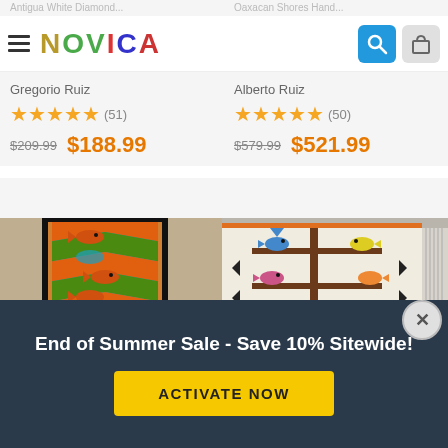NOVICA
Gregorio Ruiz
★★★★★ (51)
$209.99  $188.99
Alberto Ruiz
★★★★★ (50)
$579.99  $521.99
[Figure (photo): Handwoven tapestry with fish and geometric zigzag pattern in orange, green, and blue on black border]
[Figure (photo): Zapotec hand-woven rug with colorful birds on branches and tree/vessel motifs on cream background]
End of Summer Sale - Save 10% Sitewide!
ACTIVATE NOW